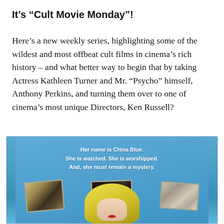It’s “Cult Movie Monday”!
Here’s a new weekly series, highlighting some of the wildest and most offbeat cult films in cinema’s rich history – and what better way to begin that by taking Actress Kathleen Turner and Mr. “Psycho” himself, Anthony Perkins, and turning them over to one of cinema’s most unique Directors, Ken Russell?
[Figure (photo): Movie poster for a film featuring the tagline 'Her name is China Blue. She is watched. She is worshipped. And, she must remain a mystery.' Blue background with three angled photo cutouts showing faces (two male, one female) and a blonde woman in the lower center.]